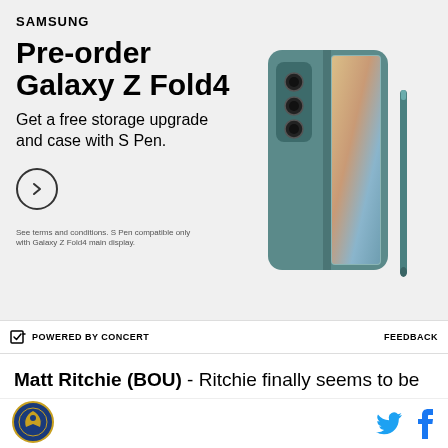[Figure (infographic): Samsung advertisement for Galaxy Z Fold4 pre-order. Shows Samsung logo, headline 'Pre-order Galaxy Z Fold4', subtext 'Get a free storage upgrade and case with S Pen.', a circular arrow button, disclaimer text, and an image of the teal/green Samsung Galaxy Z Fold4 folding phone with S Pen.]
POWERED BY CONCERT    FEEDBACK
Matt Ritchie (BOU) - Ritchie finally seems to be delivering some consistency with three double digit efforts in Fantray over the past five games, and he
[Figure (logo): Circular logo with eagle/bird emblem]
[Figure (logo): Twitter bird icon and Facebook f icon in footer]